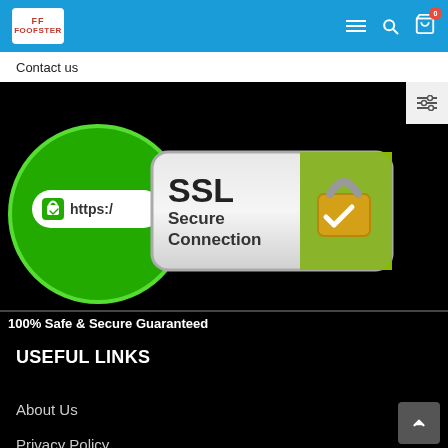[Figure (logo): Foofster logo — red FF letters and brand name in white box]
Contact us
[Figure (infographic): Green circle with https:// padlock icon and SSL Secure Connection badge with golden padlock]
100% Safe & Secure Guaranteed
USEFUL LINKS
About Us
Privacy Policy
Shipping Policy
Refund Policy